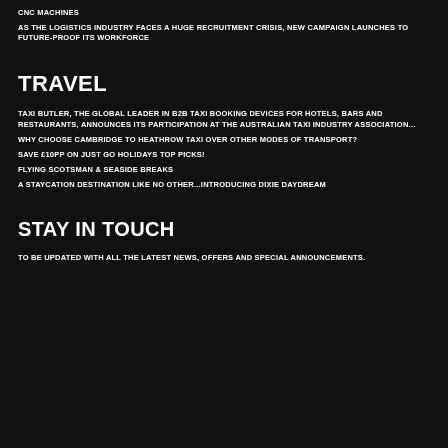CNC MACHINES
AS THE LOGISTICS INDUSTRY FACES A HUGE RECRUITMENT CRISIS, NEW CAMPAIGN LAUNCHES TO FUTURE-PROOF ITS WORKFORCE
TRAVEL
TAXI BUTLER, THE GLOBAL LEADER IN B2B TAXI BOOKING DEVICES FOR HOTELS, BARS AND RESTAURANTS, ANNOUNCES ITS PARTICIPATION AT THE AUSTRALIAN TAXI INDUSTRY ASSOCIATION...
WHY CHOOSE CAMBRIDGE TO HEATHROW TAXI OVER OTHER MODES OF TRANSPORT?
SAVE £10PP ON JUST GO HOLIDAYS TOP PICKS!
FLYING SCOTSMAN & SEASIDE BREAKS
A STAYCATION DESTINATION LIKE NO OTHER...INTRODUCING DIXIE DAYDREAM
STAY IN TOUCH
TO BE UPDATED WITH ALL THE LATEST NEWS, OFFERS AND SPECIAL ANNOUNCEMENTS.